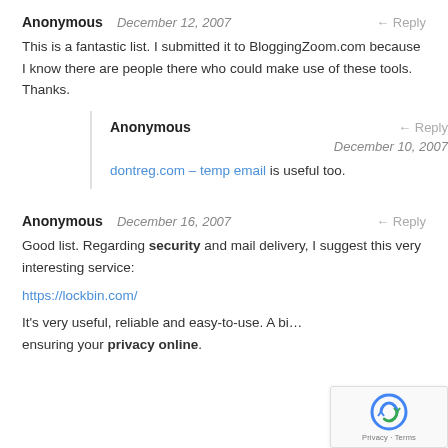Anonymous   December 12, 2007   ← Reply
This is a fantastic list. I submitted it to BloggingZoom.com because I know there are people there who could make use of these tools. Thanks.
Anonymous   ← Reply   December 10, 2007
dontreg.com – temp email is useful too.
Anonymous   December 16, 2007   ← Reply
Good list. Regarding security and mail delivery, I suggest this very interesting service:
https://lockbin.com/
It's very useful, reliable and easy-to-use. A bi… ensuring your privacy online.